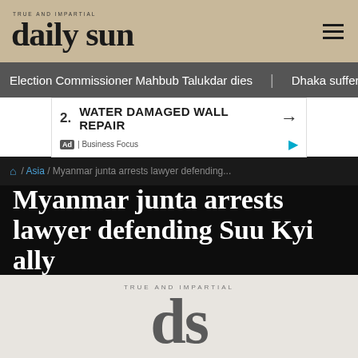TRUE AND IMPARTIAL | daily sun
Election Commissioner Mahbub Talukdar dies   Dhaka suffers severe
[Figure (screenshot): Advertisement box with text '2. WATER DAMAGED WALL REPAIR →' and 'Ad | Business Focus' label]
/ Asia / Myanmar junta arrests lawyer defending...
Myanmar junta arrests lawyer defending Suu Kyi ally
[Figure (logo): Daily Sun logo watermark: 'TRUE AND IMPARTIAL' tagline above large 'ds' letters in gray on light background]